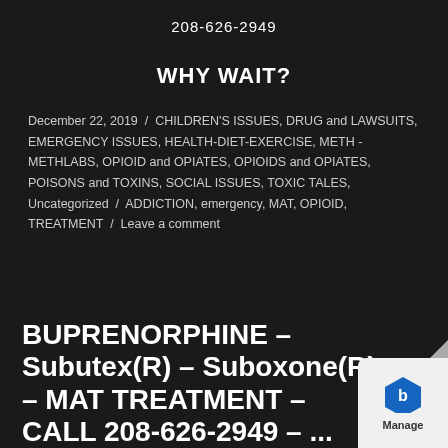208-626-2949
WHY WAIT?
December 22, 2019  /  CHILDREN'S ISSUES, DRUG and LAWSUITS, EMERGENCY ISSUES, HEALTH-DIET-EXERCISE, METH - METHLABS, OPIOID and OPIATES, OPIOIDS and OPIATES, POISONS and TOXINS, SOCIAL ISSUES, TOXIC TALES, Uncategorized  /  ADDICTION, emergency, MAT, OPIOID, TREATMENT  /  Leave a comment
BUPRENORPHINE – Subutex(R) – Suboxone(R) – MAT TREATMENT – CALL 208-626-2949 – ...
[Figure (logo): Manage badge logo with hexagonal blue icon and 'Manage' text on light background with page curl effect]